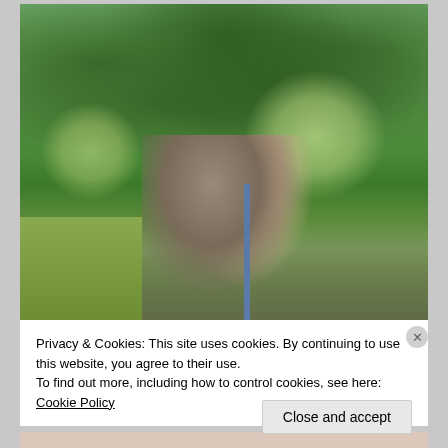[Figure (photo): Outdoor wedding photo of a couple (groom in dark vest and teal tie kissing bride on cheek, bride in white lace dress with headband) surrounded by lush green forest trees in natural sunlight]
Privacy & Cookies: This site uses cookies. By continuing to use this website, you agree to their use.
To find out more, including how to control cookies, see here: Cookie Policy
Close and accept